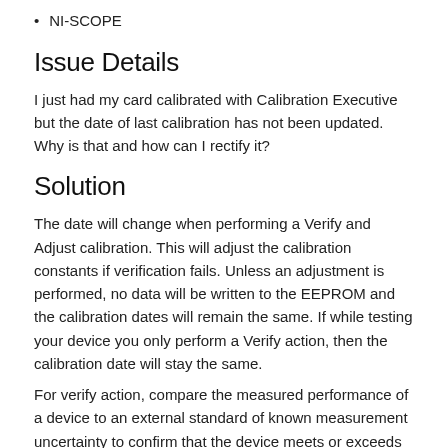NI-SCOPE
Issue Details
I just had my card calibrated with Calibration Executive but the date of last calibration has not been updated. Why is that and how can I rectify it?
Solution
The date will change when performing a Verify and Adjust calibration. This will adjust the calibration constants if verification fails. Unless an adjustment is performed, no data will be written to the EEPROM and the calibration dates will remain the same. If while testing your device you only perform a Verify action, then the calibration date will stay the same.
For verify action, compare the measured performance of a device to an external standard of known measurement uncertainty to confirm that the device meets or exceeds its specifications.
For adjust action, correct the measurement error of a device by